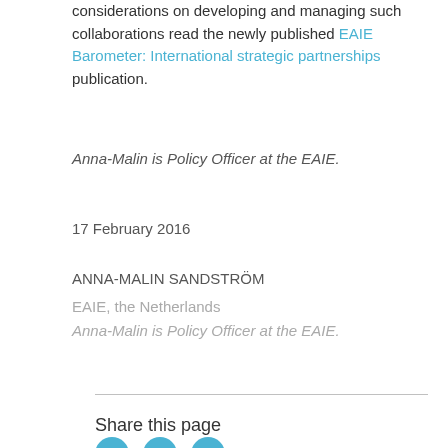considerations on developing and managing such collaborations read the newly published EAIE Barometer: International strategic partnerships publication.
Anna-Malin is Policy Officer at the EAIE.
17 February 2016
ANNA-MALIN SANDSTRÖM
EAIE, the Netherlands
Anna-Malin is Policy Officer at the EAIE.
Share this page